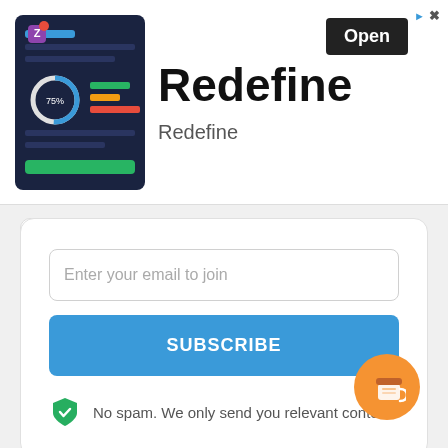[Figure (screenshot): Advertisement banner for 'Redefine' app showing a dashboard screenshot on the left, large bold 'Redefine' title, subtitle 'Redefine', and a black 'Open' button on the right with ad corner icons]
[Figure (other): Email subscription card with collapse chevron button, email input field placeholder 'Enter your email to join', blue SUBSCRIBE button, and green shield icon with 'No spam. We only send you relevant content.' text]
[Figure (other): Orange circular coffee button icon in bottom-right corner]